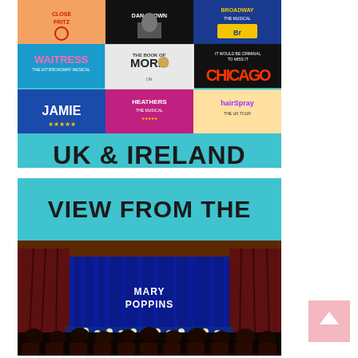[Figure (illustration): Top banner showing multiple musical theatre show posters in a grid (Waitress, The Book of Mormon, Chicago, Everybody's Talking About Jamie, Heathers the Musical, Hairspray the Tour, and others) on a teal/cyan background with bold black text 'UK & IRELAND' at the bottom.]
[Figure (photo): Bottom banner with teal background showing 'VIEW FROM THE' in bold black uppercase text, and below it a photograph of a theatre interior showing the stage set for Mary Poppins with blue lighting and audience members visible.]